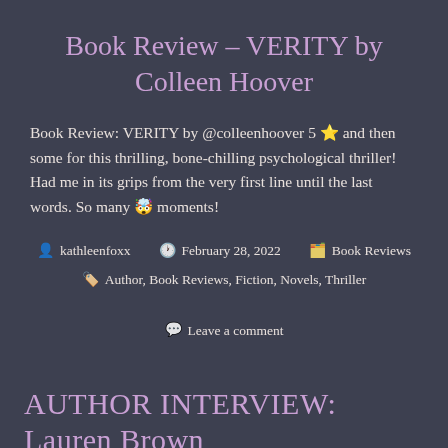Book Review – VERITY by Colleen Hoover
Book Review: VERITY by @colleenhoover 5 ⭐ and then some for this thrilling, bone-chilling psychological thriller! Had me in its grips from the very first line until the last words. So many 🤯 moments!
kathleenfoxx  February 28, 2022  Book Reviews  Author, Book Reviews, Fiction, Novels, Thriller  Leave a comment
AUTHOR INTERVIEW: Lauren Brown
Get to know author Lauren Brown and how her writing journey led to